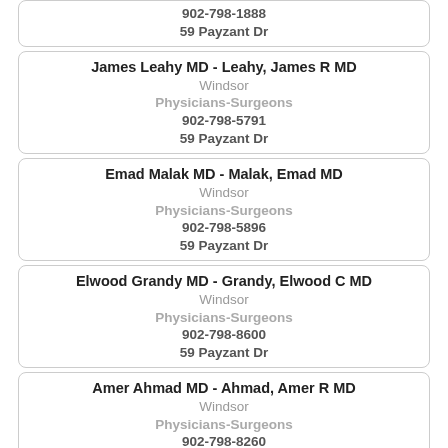902-798-1888
59 Payzant Dr
James Leahy MD - Leahy, James R MD
Windsor
Physicians-Surgeons
902-798-5791
59 Payzant Dr
Emad Malak MD - Malak, Emad MD
Windsor
Physicians-Surgeons
902-798-5896
59 Payzant Dr
Elwood Grandy MD - Grandy, Elwood C MD
Windsor
Physicians-Surgeons
902-798-8600
59 Payzant Dr
Amer Ahmad MD - Ahmad, Amer R MD
Windsor
Physicians-Surgeons
902-798-8260
59 Payzant Dr
William Enright MD - Enright, William MD
Windsor